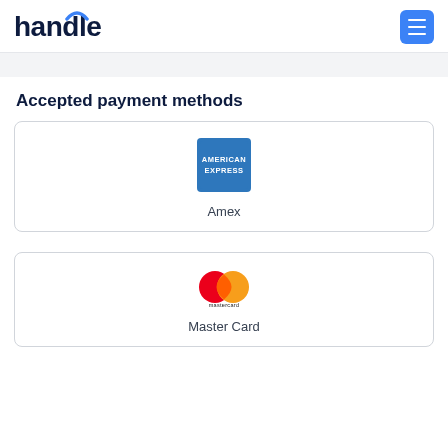handle
Accepted payment methods
[Figure (logo): American Express logo — blue square with AMERICAN EXPRESS text]
Amex
[Figure (logo): Mastercard logo — overlapping red and orange circles with mastercard text below]
Master Card